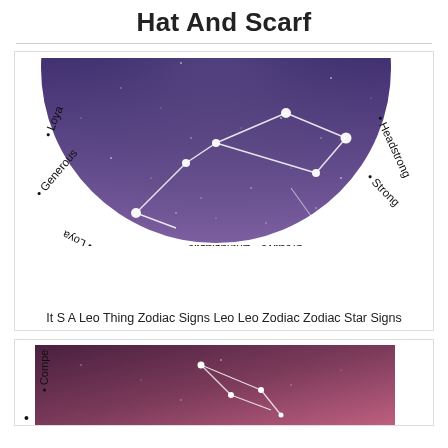Hat And Scarf
[Figure (illustration): Half-circle zodiac Leo illustration with constellation on a dark blue/purple starry sky background. Circular text around the rim reads: Loyal, Generous, Creative (upside down at bottom), Enthusiastic (upside down), Strong, Headstrong on right side.]
It S A Leo Thing Zodiac Signs Leo Leo Zodiac Zodiac Star Signs
[Figure (illustration): Partial view of another zodiac illustration with a pink/purple starry nebula background. Text visible on left: • Compe and on right: Intuitive.]